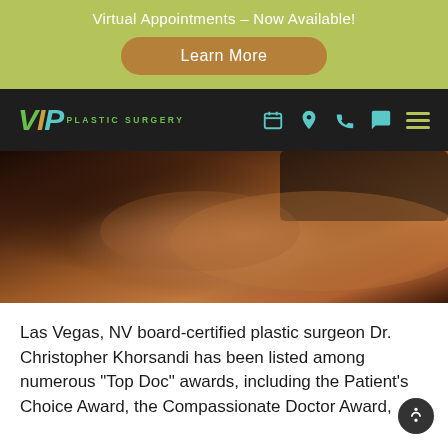Virtual Appointments – Now Available!
Learn More
[Figure (logo): VIP Plastic Surgery logo with teal, green, and gold coloring on dark navbar, with icons for calendar, location, phone, chat, and hamburger menu]
[Figure (photo): Close-up photo of a person's torso/back area with a hand adjusting dark fabric, warm brown skin tones]
Las Vegas, NV board-certified plastic surgeon Dr. Christopher Khorsandi has been listed among numerous "Top Doc" awards, including the Patient's Choice Award, the Compassionate Doctor Award,